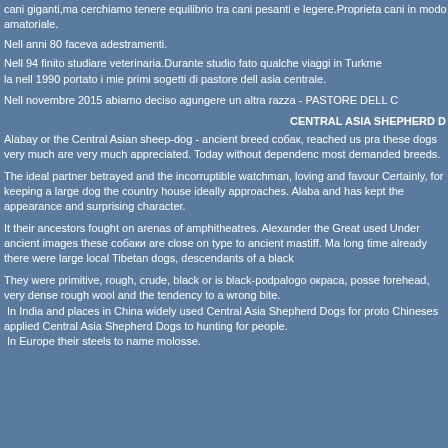cani giganti,ma cerchiamo tenere equilibrio tra cani pesanti e legere.Proprieta cani in modo amatoriale.
Nell anni 80 faceva adestramenti.
Nell 94 finito studiare veterinaria.Durante studio fato qualche viaggi in Turkme la nell 1990 portato i mie primi sogetti di pastore dell asia centrale.
Nell novembre 2015 abiamo deciso agungere un altra razza - PASTORE DELL C
CENTRAL ASIA SHEPHERD D
Alabay or the Central Asian sheep-dog - ancient breed собак, reached us pra these dogs very much are very much appreciated. Today without dependenc most demanded breeds.
The ideal partner betrayed and the incorruptible watchman, loving and favour Certainly, for keeping a large dog the country house ideally approaches. Alaba and has kept the appearance and surprising character.
It their ancestors fought on arenas of amphitheatres. Alexander the Great used Under ancient images these собаки are close on type to ancient mastiff. Ma long time already there were large local Tibetan dogs, descendants of a black
They were primitive, rough, crude, black or is black-podpalogo окраса, posse forehead,   very dense rough wool and the tendency to a wrong bite.
 In India and places in China widely used Central Asia Shepherd Dogs for proto Chineses applied Central Asia Shepherd Dogs to hunting for people.
 In Europe their steels to name molosse.